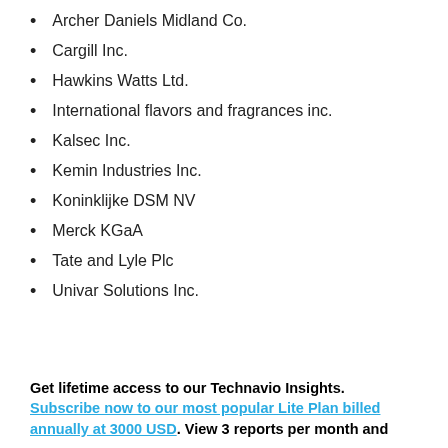Archer Daniels Midland Co.
Cargill Inc.
Hawkins Watts Ltd.
International flavors and fragrances inc.
Kalsec Inc.
Kemin Industries Inc.
Koninklijke DSM NV
Merck KGaA
Tate and Lyle Plc
Univar Solutions Inc.
Get lifetime access to our Technavio Insights. Subscribe now to our most popular Lite Plan billed annually at 3000 USD. View 3 reports per month and